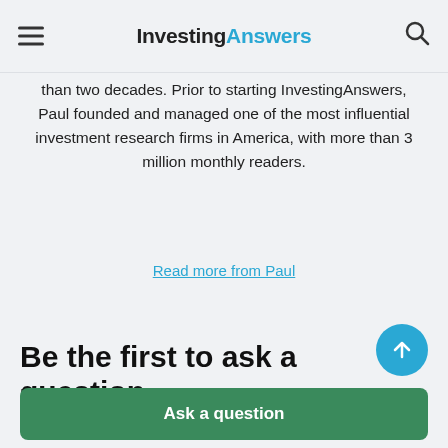InvestingAnswers
than two decades. Prior to starting InvestingAnswers, Paul founded and managed one of the most influential investment research firms in America, with more than 3 million monthly readers.
Read more from Paul
Be the first to ask a question
If you have a question about How Much Retirement Savings Do You Really Need?, then please ask Paul.
Ask a question